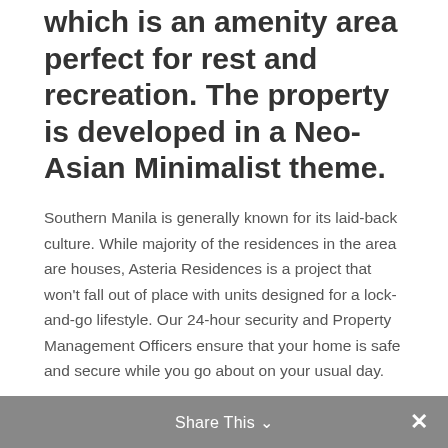which is an amenity area perfect for rest and recreation. The property is developed in a Neo-Asian Minimalist theme.
Southern Manila is generally known for its laid-back culture. While majority of the residences in the area are houses, Asteria Residences is a project that won't fall out of place with units designed for a lock-and-go lifestyle. Our 24-hour security and Property Management Officers ensure that your home is safe and secure while you go about on your usual day.
Entrance Gate
Convenience Store
Laundry Station
Water Station
Stand-by Electric Generator
Property Management Services
24-hr security, with roving personnel
Share This ∨  ✕